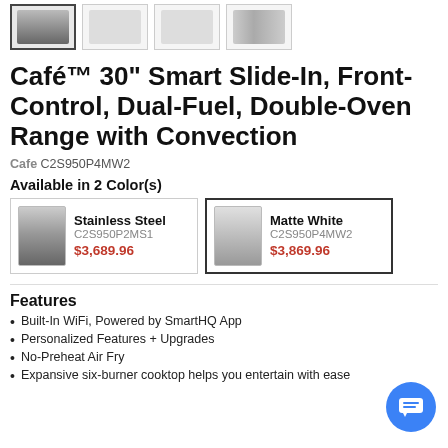[Figure (photo): Row of four product thumbnail images of the oven range, first one selected with a border]
Café™ 30" Smart Slide-In, Front-Control, Dual-Fuel, Double-Oven Range with Convection
Cafe C2S950P4MW2
Available in 2 Color(s)
| Stainless Steel | C2S950P2MS1 | $3,689.96 |
| Matte White | C2S950P4MW2 | $3,869.96 |
Features
Built-In WiFi, Powered by SmartHQ App
Personalized Features + Upgrades
No-Preheat Air Fry
Expansive six-burner cooktop helps you entertain with ease